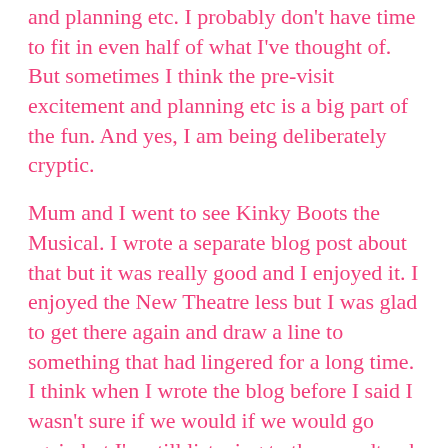and planning etc. I probably don't have time to fit in even half of what I've thought of. But sometimes I think the pre-visit excitement and planning etc is a big part of the fun. And yes, I am being deliberately cryptic.
Mum and I went to see Kinky Boots the Musical. I wrote a separate blog post about that but it was really good and I enjoyed it. I enjoyed the New Theatre less but I was glad to get there again and draw a line to something that had lingered for a long time. I think when I wrote the blog before I said I wasn't sure if we would if we would go again but I'm still listening to the soundtrack a few weeks later and I think we probably would (or I would at least)